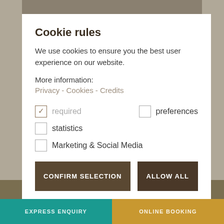Cookie rules
We use cookies to ensure you the best user experience on our website.
More information:
Privacy - Cookies - Credits
☑ required   ☐ preferences
☐ statistics
☐ Marketing & Social Media
CONFIRM SELECTION
ALLOW ALL
EXPRESS ENQUIRY   ONLINE BOOKING